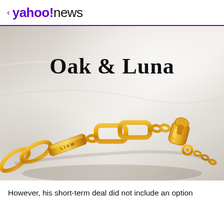< yahoo!news
[Figure (photo): Product photo showing an Oak & Luna gold chain link bracelet with a personalized bar charm engraved with 'LIAM', displayed on a white marble-textured surface. The brand name 'Oak & Luna' appears in bold serif text over the photo.]
However, his short-term deal did not include an option